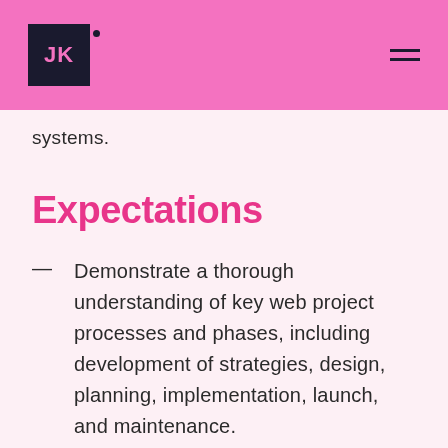JK
systems.
Expectations
Demonstrate a thorough understanding of key web project processes and phases, including development of strategies, design, planning, implementation, launch, and maintenance.
Anticipate emerging digital trends and proactively identify